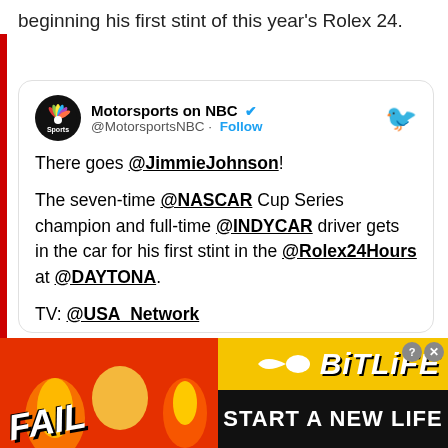beginning his first stint of this year's Rolex 24.
[Figure (screenshot): Tweet from Motorsports on NBC (@MotorsportsNBC) with verified badge and Follow button. Tweet text: 'There goes @JimmieJohnson! The seven-time @NASCAR Cup Series champion and full-time @INDYCAR driver gets in the car for his first stint in the @Rolex24Hours at @DAYTONA. TV: @USA_Network Commercial-free coverage: @PeacockTV']
[Figure (photo): Advertisement banner for BitLife game with orange/red fire background, FAIL text, facepalm emoji, fire emoji, BitLife logo, and 'START A NEW LIFE' text on black bar.]